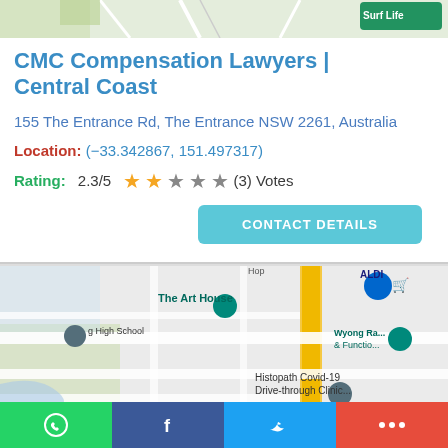[Figure (map): Top partial map strip showing road map]
CMC Compensation Lawyers | Central Coast
155 The Entrance Rd, The Entrance NSW 2261, Australia
Location: (−33.342867, 151.497317)
Rating: 2.3/5 ★★☆★★ (3) Votes
CONTACT DETAILS
[Figure (map): Google Maps view showing The Art House, ALDI, Histopath Covid-19 Drive-through Clinic, Wyong Ra... & Functio..., ng High School]
WhatsApp | Facebook | Twitter | More